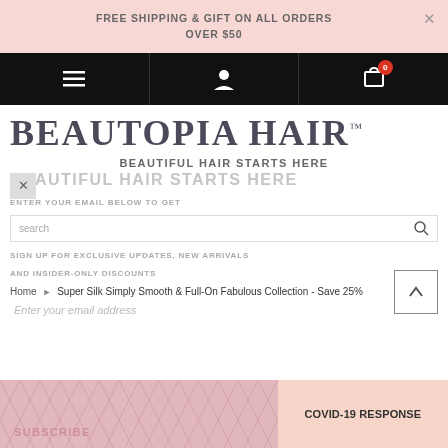FREE SHIPPING & GIFT ON ALL ORDERS OVER $50
BEAUTOPIA HAIR™
BEAUTIFUL HAIR STARTS HERE
BEAUTIFUL HAIR STARTS HERE
ENTER YOUR EMAIL BELOW TO GET
search
SIGN UP FOR EXCLUSIVE UPDATES, NEW ARRIVALS AND INSIDER-ONLY DISCOUNTS
Home ▸ Super Silk Simply Smooth & Full-On Fabulous Collection - Save 25%
Enter your email address
SUBSCRIBE
COVID-19 RESPONSE